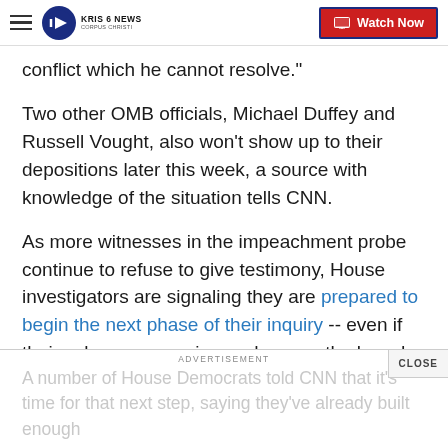KRIS 6 NEWS CORPUS CHRISTI — Watch Now
conflict which he cannot resolve."
Two other OMB officials, Michael Duffey and Russell Vought, also won't show up to their depositions later this week, a source with knowledge of the situation tells CNN.
As more witnesses in the impeachment probe continue to refuse to give testimony, House investigators are signaling they are prepared to begin the next phase of their inquiry -- even if their subpoenas are ignored across the board.
A number of House Democrats told CNN that it's time for that next step, saying they've already built enough